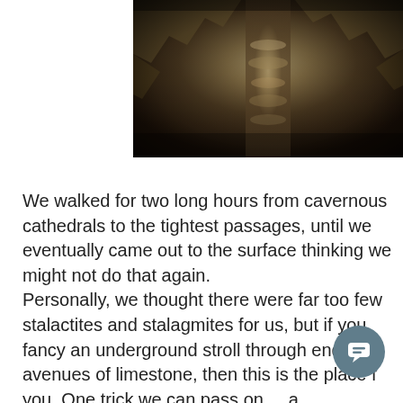[Figure (photo): A photograph of cave interior showing layered limestone rock formations with a central stalactite or column structure, in sepia/brown tones.]
We walked for two long hours from cavernous cathedrals to the tightest passages, until we eventually came out to the surface thinking we might not do that again.
Personally, we thought there were far too few stalactites and stalagmites for us, but if you fancy an underground stroll through endless avenues of limestone, then this is the place for you. One trick we can pass on ... as you shuffle in the almost total